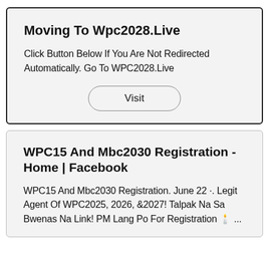Moving To Wpc2028.Live
Click Button Below If You Are Not Redirected Automatically. Go To WPC2028.Live
Visit
WPC15 And Mbc2030 Registration - Home | Facebook
WPC15 And Mbc2030 Registration. June 22 ·. Legit Agent Of WPC2025, 2026, &2027! Talpak Na Sa Bwenas Na Link! PM Lang Po For Registration 🕯️ ....